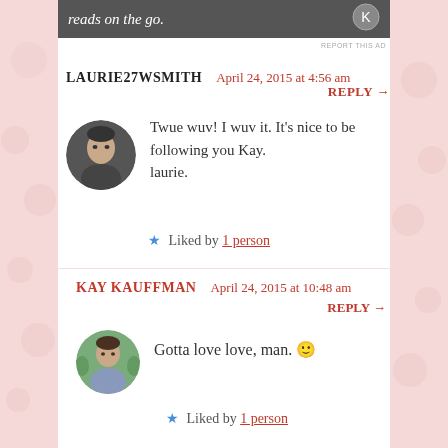[Figure (screenshot): Ad banner with text 'reads on the go.' and an icon on the right]
REPORT THIS AD
LAURIE27WSMITH   April 24, 2015 at 4:56 am
REPLY →
[Figure (photo): Circular avatar photo of an older man with grey hair]
Twue wuv! I wuv it. It's nice to be following you Kay.
laurie.
★ Liked by 1 person
KAY KAUFFMAN   April 24, 2015 at 10:48 am
REPLY →
[Figure (photo): Circular avatar photo of a woman with dark hair outdoors]
Gotta love love, man. 🙂
★ Liked by 1 person